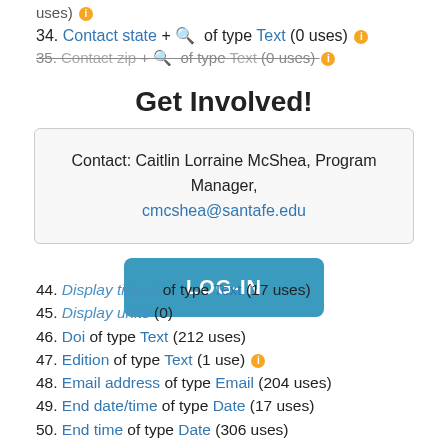uses) ℹ
34. Contact state + [search] of type Text (0 uses) ℹ
35. Contact zip + [search] of type Text (0 uses) ℹ
Get Involved!
Contact: Caitlin Lorraine McShea, Program Manager, cmcshea@santafe.edu
[Figure (other): Blue LOG-IN button]
44. Display title of of type Text (17 uses)
45. Display units (0)
46. Doi of type Text (212 uses)
47. Edition of type Text (1 use) ℹ
48. Email address of type Email (204 uses)
49. End date/time of type Date (17 uses)
50. End time of type Date (306 uses)